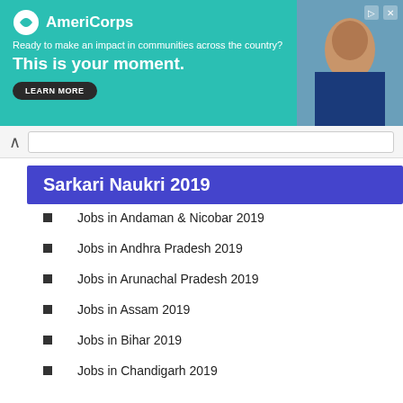[Figure (infographic): AmeriCorps advertisement banner. Teal background with logo, tagline 'Ready to make an impact in communities across the country?', headline 'This is your moment.', and LEARN MORE button. Photo of a woman on the right side.]
Sarkari Naukri 2019
Jobs in Andaman & Nicobar 2019
Jobs in Andhra Pradesh 2019
Jobs in Arunachal Pradesh 2019
Jobs in Assam 2019
Jobs in Bihar 2019
Jobs in Chandigarh 2019
Jobs in Chhattisgath 2019
Jobs in Dadra and Nagar Haveli 2019
Jobs in Daman and Diu 2019